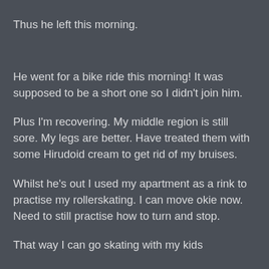Thus he left this morning.
He went for a bike ride this morning! It was supposed to be a short one so I didn't join him.
Plus I'm recovering. My middle region is still sore. My legs are better. Have treated them with some Hirudoid cream to get rid of my bruises.
Whilst he's out I used my apartment as a rink to practise my rollerskating. I can move okie now. Need to still practise how to turn and stop.
That way I can go skating with my kids